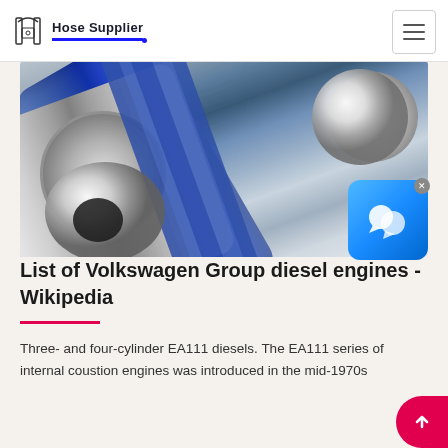Hose Supplier
[Figure (photo): Close-up photo of industrial hose fittings and connectors — a blue hose and silver/chrome metallic hose ends with threaded couplings and cam-lock connectors]
List of Volkswagen Group diesel engines - Wikipedia
Three- and four-cylinder EA111 diesels. The EA111 series of internal coustion engines was introduced in the mid-1970s